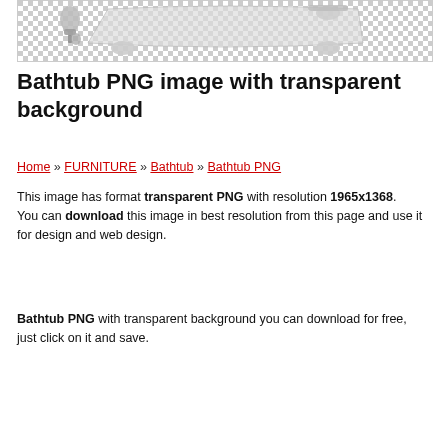[Figure (photo): Bathtub PNG image with transparent (checkered) background, showing partial view of a clawfoot bathtub with silver faucets]
Bathtub PNG image with transparent background
Home » FURNITURE » Bathtub » Bathtub PNG
This image has format transparent PNG with resolution 1965x1368. You can download this image in best resolution from this page and use it for design and web design.
Bathtub PNG with transparent background you can download for free, just click on it and save.